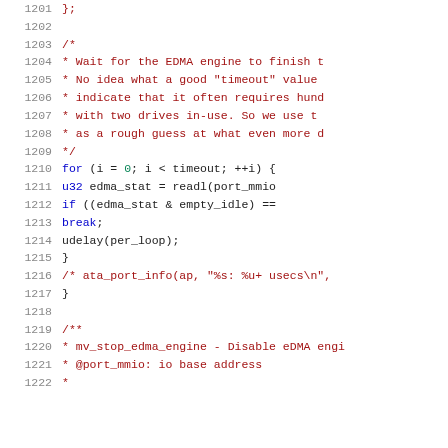Source code listing, lines 1201-1222, C kernel driver code showing EDMA engine wait loop and mv_stop_edma_engine function documentation.